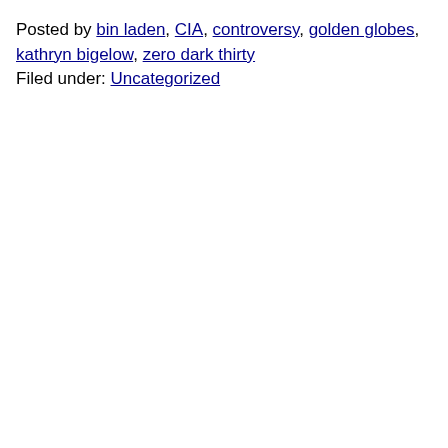Posted by bin laden, CIA, controversy, golden globes, kathryn bigelow, zero dark thirty
Filed under: Uncategorized